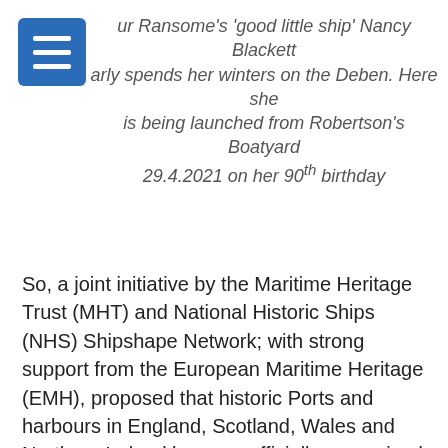ur Ransome's 'good little ship' Nancy Blackett arly spends her winters on the Deben. Here she is being launched from Robertson's Boatyard 29.4.2021 on her 90th birthday
So, a joint initiative by the Maritime Heritage Trust (MHT) and National Historic Ships (NHS) Shipshape Network; with strong support from the European Maritime Heritage (EMH), proposed that historic Ports and harbours in England, Scotland, Wales and Northern Ireland become officially recognised as ‘Heritage Harbours’. The developing Heritage Harbours recognise the great value in sensitively developing their, often superb, historic buildings; waste land; mooring; and maintenance facilities for both local and visiting historic vessels and are identified within the NHS Shipshape Network regions.